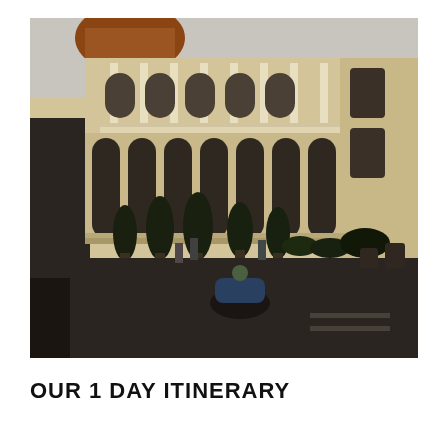[Figure (photo): A colonial French-style building (Ho Chi Minh City Hall / People's Committee Building) with arched windows, ornate white stucco detailing, columns, and a balustrade. Topiary trees line the entrance. A motorcyclist and several pedestrians are visible in the foreground on the street.]
OUR 1 DAY ITINERARY